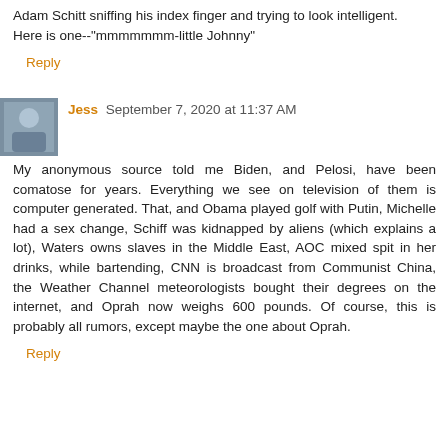Adam Schitt sniffing his index finger and trying to look intelligent.
Here is one--"mmmmmmm-little Johnny"
Reply
Jess September 7, 2020 at 11:37 AM
My anonymous source told me Biden, and Pelosi, have been comatose for years. Everything we see on television of them is computer generated. That, and Obama played golf with Putin, Michelle had a sex change, Schiff was kidnapped by aliens (which explains a lot), Waters owns slaves in the Middle East, AOC mixed spit in her drinks, while bartending, CNN is broadcast from Communist China, the Weather Channel meteorologists bought their degrees on the internet, and Oprah now weighs 600 pounds. Of course, this is probably all rumors, except maybe the one about Oprah.
Reply